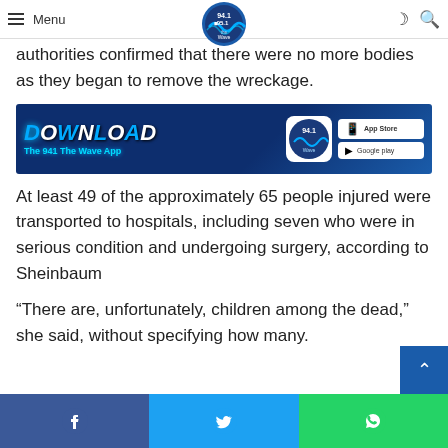Menu | 94.1 B 95.1 The Wave logo
worked through the night to remove — dead and alive — from the scene. By early morning authorities confirmed that there were no more bodies as they began to remove the wreckage.
[Figure (infographic): Download The 941 The Wave App banner ad with App Store and Google Play buttons]
At least 49 of the approximately 65 people injured were transported to hospitals, including seven who were in serious condition and undergoing surgery, according to Sheinbaum
“There are, unfortunately, children among the dead,” she said, without specifying how many.
Facebook share | Twitter share | WhatsApp share